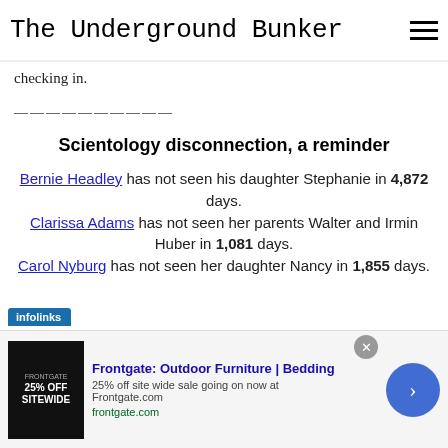The Underground Bunker
checking in.
——————————
Scientology disconnection, a reminder
Bernie Headley has not seen his daughter Stephanie in 4,872 days. Clarissa Adams has not seen her parents Walter and Irmin Huber in 1,081 days. Carol Nyburg has not seen her daughter Nancy in 1,855 days.
[Figure (other): Infolinks advertisement badge overlay]
[Figure (other): Frontgate Outdoor Furniture advertisement banner with 25% off sitewide sale]